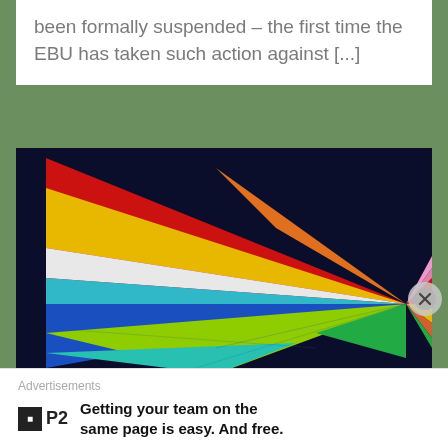been formally suspended – the first time the EBU has taken such action against [...]
[Figure (illustration): Colorful geometric diamond/rhombus shape made of triangular facets in red, yellow, orange, white, teal, blue, green, chartreuse, pink, and light blue on a dark navy background — Eurovision-style graphic logo art.]
#ESC21: Remembering Belarus At
Advertisements
Getting your team on the same page is easy. And free.